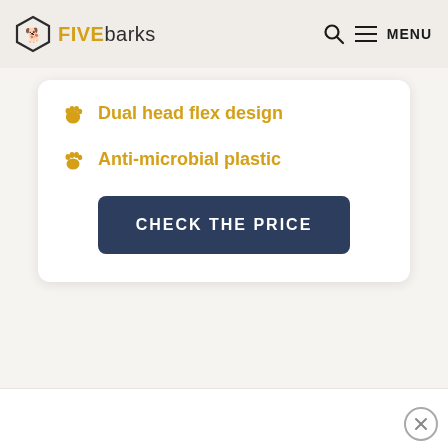FIVE barks — MENU
Dual head flex design
Anti-microbial plastic
CHECK THE PRICE